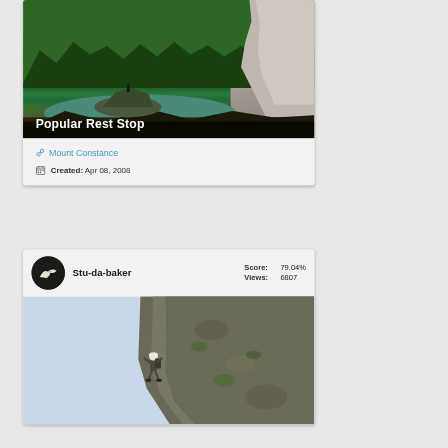[Figure (photo): Mountain landscape with pine forest, alpine lake and rocky outcrop. Text overlay reads 'Popular Rest Stop'.]
Popular Rest Stop
Mount Constance
Created: Apr 08, 2008
Stu-da-baker   Score: 79.04%   Views: 6807
[Figure (photo): Rock climber ascending a steep granite cliff face with blue sky visible behind.]